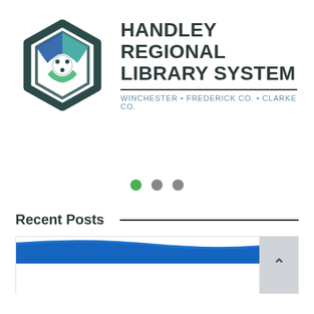[Figure (logo): Handley Regional Library System logo: hexagon icon with blue and green segments, accompanied by bold text 'HANDLEY REGIONAL LIBRARY SYSTEM' and subtitle 'WINCHESTER • FREDERICK CO. • CLARKE CO.']
[Figure (other): Carousel slide indicator dots: one green filled dot and two gray filled dots, indicating a slideshow with the first slide active]
Recent Posts
[Figure (photo): Partial view of a post card image showing a blue curved banner at top, with a scroll-to-top button (chevron up) in the bottom right corner]